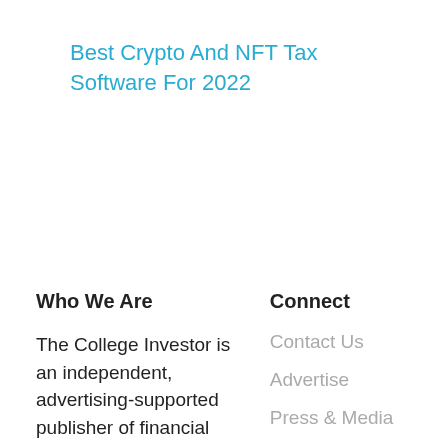Best Crypto And NFT Tax Software For 2022
Who We Are
Connect
The College Investor is an independent, advertising-supported publisher of financial
Contact Us
Advertise
Press & Media